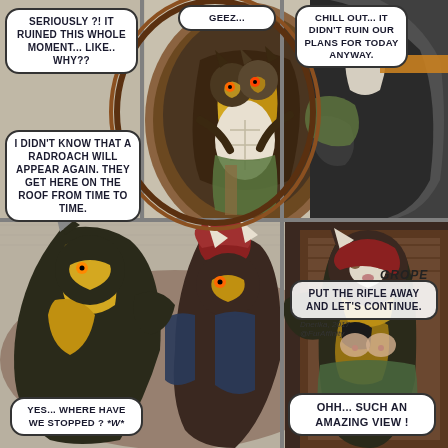[Figure (illustration): A four-panel furry comic page by Dnerika, 2017 (@FurAffinity). Top-left panel: speech bubbles over illustrated furry characters. Top-center panel: two anthropomorphic characters in an oval frame embracing. Top-right panel: partial view of a character's lower body. Bottom-left panel: two characters embracing/kissing. Bottom-right panel: a female anthropomorphic character viewed from the front with a speech bubble.]
SERIOUSLY ?! IT RUINED THIS WHOLE MOMENT... LIKE.. WHY??
I DIDN'T KNOW THAT A RADROACH WILL APPEAR AGAIN. THEY GET HERE ON THE ROOF FROM TIME TO TIME.
GEEZ...
CHILL OUT... IT DIDN'T RUIN OUR PLANS FOR TODAY ANYWAY.
GROPE
PUT THE RIFLE AWAY AND LET'S CONTINUE.
YES... WHERE HAVE WE STOPPED ? *w*
OHH... SUCH AN AMAZING VIEW !
Dnerika, 2017
@FurAffinity